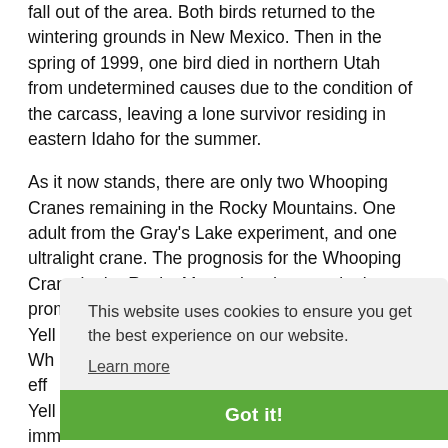fall out of the area. Both birds returned to the wintering grounds in New Mexico. Then in the spring of 1999, one bird died in northern Utah from undetermined causes due to the condition of the carcass, leaving a lone survivor residing in eastern Idaho for the summer.
As it now stands, there are only two Whooping Cranes remaining in the Rocky Mountains. One adult from the Gray's Lake experiment, and one ultralight crane. The prognosis for the Whooping Crane in the Rocky Mountains does not look promising. Whooping Cranes... Yellowstone... Whooping... efforts... Yellowstone... improved... pairs... September... Team recommended the Wisconsin-Florida corridor
This website uses cookies to ensure you get the best experience on our website.
Learn more
Got it!